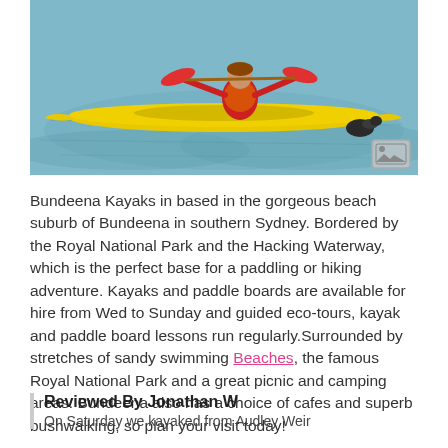[Figure (photo): A person in a red jacket paddling a yellow kayak on blue-green water, with a seal or dark animal visible near the kayak bow.]
Bundeena Kayaks in based in the gorgeous beach suburb of Bundeena in southern Sydney. Bordered by the Royal National Park and the Hacking Waterway, which is the perfect base for a paddling or hiking adventure. Kayaks and paddle boards are available for hire from Wed to Sunday and guided eco-tours, kayak and paddle board lessons run regularly.Surrounded by stretches of sandy swimming Beaches, the famous Royal National Park and a great picnic and camping areas. Bundeena also has a choice of cafes and superb bushwalking, so plan your visit today!
Reviewed By Jonathan W
On Saturday we kayaked from Audley Weir